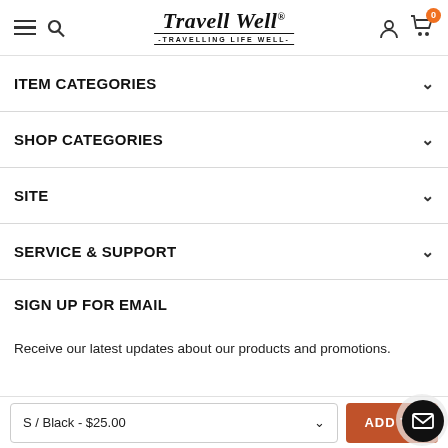Travell Well - TRAVELLING LIFE WELL - (navigation header with hamburger, search, account, cart)
ITEM CATEGORIES
SHOP CATEGORIES
SITE
SERVICE & SUPPORT
SIGN UP FOR EMAIL
Receive our latest updates about our products and promotions.
S / Black - $25.00  [ADD TO CART button]